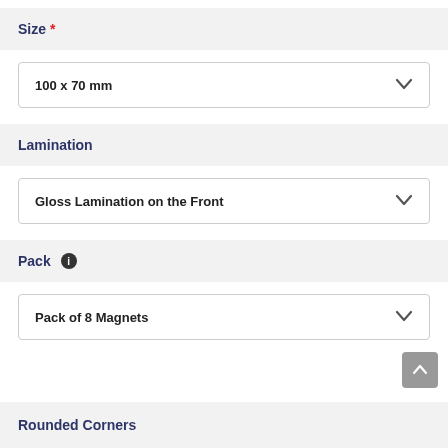Size *
100 x 70 mm
Lamination
Gloss Lamination on the Front
Pack
Pack of 8 Magnets
Rounded Corners